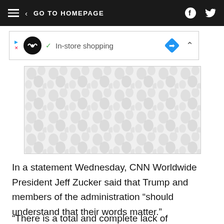GO TO HOMEPAGE
[Figure (screenshot): Ad widget showing in-store shopping with a blue diamond navigation icon]
[Figure (photo): Image placeholder with grey bubble/pebble pattern on white background]
In a statement Wednesday, CNN Worldwide President Jeff Zucker said that Trump and members of the administration “should understand that their words matter.”
“There is a total and complete lack of